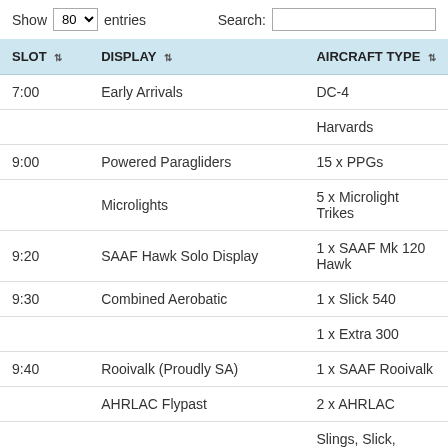| SLOT | DISPLAY | AIRCRAFT TYPE |
| --- | --- | --- |
| 7:00 | Early Arrivals | DC-4 |
|  |  | Harvards |
| 9:00 | Powered Paragliders | 15 x PPGs |
|  | Microlights | 5 x Microlight Trikes |
| 9:20 | SAAF Hawk Solo Display | 1 x SAAF Mk 120 Hawk |
| 9:30 | Combined Aerobatic | 1 x Slick 540 |
|  |  | 1 x Extra 300 |
| 9:40 | Rooivalk (Proudly SA) | 1 x SAAF Rooivalk |
|  | AHRLAC Flypast | 2 x AHRLAC |
| 9:50 | Kitplanes (Proudly SA) | Slings, Slick, Foxbats, TMGs... |